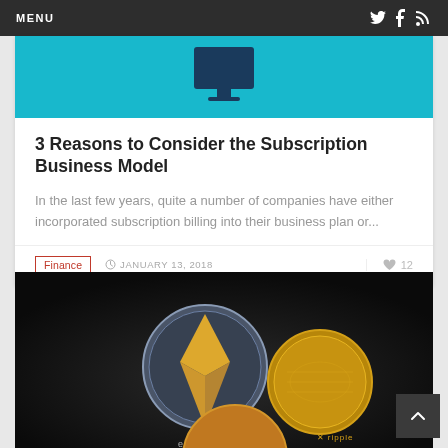MENU
[Figure (illustration): Article hero image with teal background and a computer monitor icon]
3 Reasons to Consider the Subscription Business Model
In the last few years, quite a number of companies have either incorporated subscription billing into their business plan or...
Finance · JANUARY 13, 2018 · 12 likes
[Figure (photo): Dark background photo of cryptocurrency coins including Ethereum, Ripple, and Bitcoin]